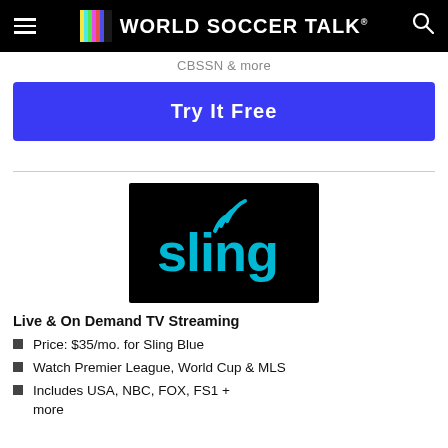World Soccer Talk
CBSSN & more
Try It Free
[Figure (logo): Sling TV logo — white 'sling' text with wifi-like signal arcs above the 'i', on a black background]
Live & On Demand TV Streaming
Price: $35/mo. for Sling Blue
Watch Premier League, World Cup & MLS
Includes USA, NBC, FOX, FS1 + more